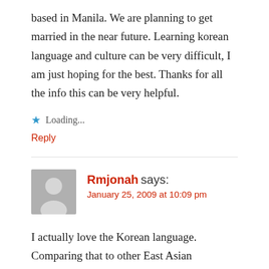based in Manila. We are planning to get married in the near future. Learning korean language and culture can be very difficult, I am just hoping for the best. Thanks for all the info this can be very helpful.
★ Loading...
Reply
Rmjonah says:
January 25, 2009 at 10:09 pm
I actually love the Korean language.
Comparing that to other East Asian languages, I would say hangeul is pretty much an easier language to learn.
Yes, you have to know all the aspects of the language